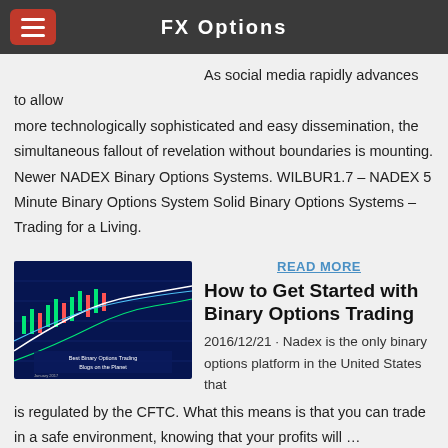FX Options
As social media rapidly advances to allow more technologically sophisticated and easy dissemination, the simultaneous fallout of revelation without boundaries is mounting. Newer NADEX Binary Options Systems. WILBUR1.7 – NADEX 5 Minute Binary Options System Solid Binary Options Systems – Trading for a Living.
READ MORE
[Figure (screenshot): Screenshot of a trading chart interface showing binary options trading with candlestick charts, blue background with green and white chart lines and indicators. Text reads 'Best Binary Options Trading Blogs on the Planet'.]
How to Get Started with Binary Options Trading
2016/12/21 · Nadex is the only binary options platform in the United States that is regulated by the CFTC. What this means is that you can trade in a safe environment, knowing that your profits will …
[Figure (screenshot): Partial screenshot of another article or image at the bottom of the page.]